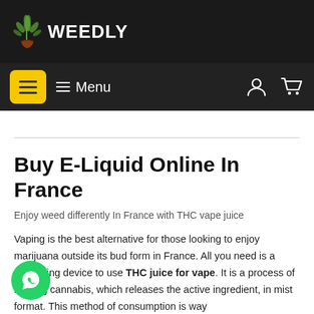[Figure (logo): Weedly logo with cannabis leaf icon and white text 'WEEDLY' on dark background header bar]
Menu
Buy E-Liquid Online In France
Enjoy weed differently In France with THC vape juice
Vaping is the best alternative for those looking to enjoy marijuana outside its bud form in France. All you need is a vaporizing device to use THC juice for vape. It is a process of heating cannabis, which releases the active ingredient, in mist format. This method of consumption is way
[Figure (logo): WhatsApp green circular button with phone icon in bottom left corner]